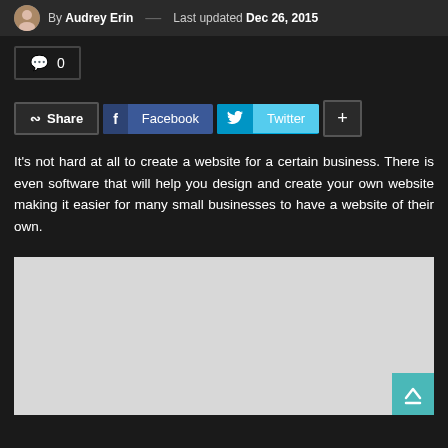By Audrey Erin — Last updated Dec 26, 2015
0
Share  Facebook  Twitter  +
It's not hard at all to create a website for a certain business. There is even software that will help you design and create your own website making it easier for many small businesses to have a website of their own.
[Figure (other): Light gray image placeholder area with a teal scroll-to-top button in the bottom right corner]